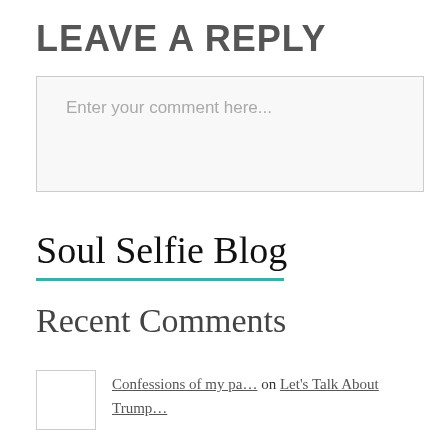LEAVE A REPLY
Enter your comment here...
Soul Selfie Blog
Recent Comments
Confessions of my pa… on Let's Talk About Trump…